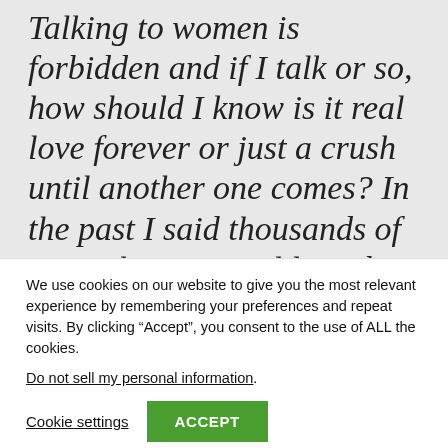Talking to women is forbidden and if I talk or so, how should I know is it real love forever or just a crush until another one comes? In the past I said thousands of times that it is real love, but
We use cookies on our website to give you the most relevant experience by remembering your preferences and repeat visits. By clicking “Accept”, you consent to the use of ALL the cookies.
Do not sell my personal information.
Cookie settings
ACCEPT